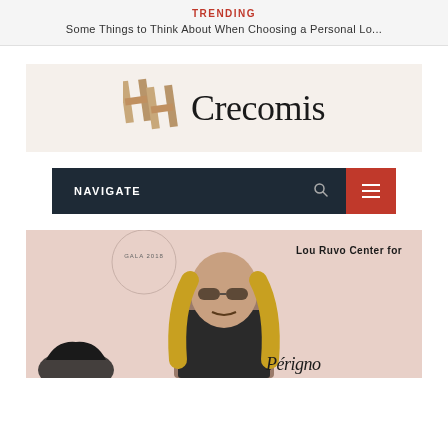TRENDING
Some Things to Think About When Choosing a Personal Lo...
[Figure (logo): Crecomis logo with stylized double-H icon and wordmark 'Crecomis' on beige background]
NAVIGATE
[Figure (photo): Man with long blonde hair and sunglasses standing in front of a backdrop reading 'GALA 2018' and 'Lou Ruvo Center for' and 'Perignon']